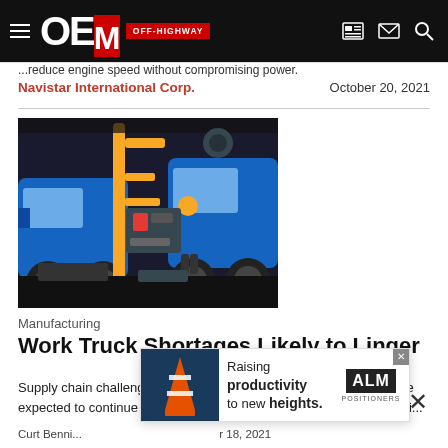OEM Off-Highway
...reduce engine speed without compromising power.
Navistar International Corp.
October 20, 2021
[Figure (photo): Workers in blue uniforms and yellow hard hats working on blue heavy trucks in a manufacturing facility, with yellow crane equipment visible.]
Manufacturing
Work Truck Shortages Likely to Linger
Supply chain challenges continue to restrict truck availability, and are expected to continue well into 2022 which will impact work truck avai...
[Figure (other): Advertisement banner: Raising productivity to new heights. ALM Positioners logo.]
Curt Benni...  ...r 18, 2021